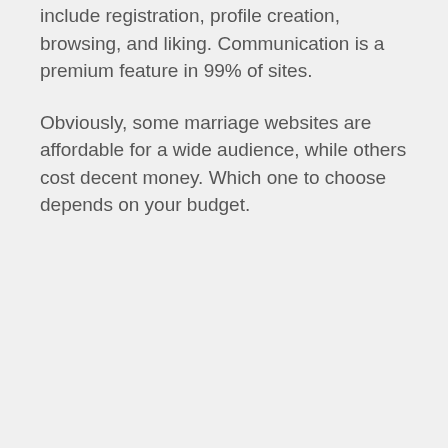include registration, profile creation, browsing, and liking. Communication is a premium feature in 99% of sites.
Obviously, some marriage websites are affordable for a wide audience, while others cost decent money. Which one to choose depends on your budget.